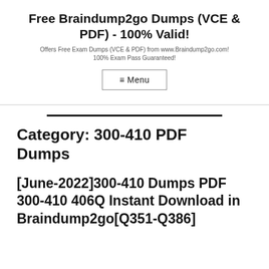Free Braindump2go Dumps (VCE & PDF) - 100% Valid!
Offers Free Exam Dumps (VCE & PDF) from www.Braindump2go.com! 100% Exam Pass Guaranteed!
≡ Menu
Category: 300-410 PDF Dumps
[June-2022]300-410 Dumps PDF 300-410 406Q Instant Download in Braindump2go[Q351-Q386]